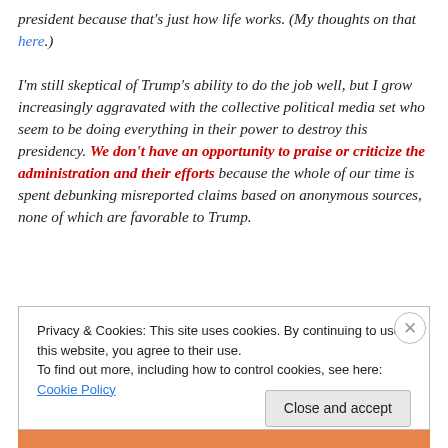president because that's just how life works. (My thoughts on that here.) I'm still skeptical of Trump's ability to do the job well, but I grow increasingly aggravated with the collective political media set who seem to be doing everything in their power to destroy this presidency. We don't have an opportunity to praise or criticize the administration and their efforts because the whole of our time is spent debunking misreported claims based on anonymous sources, none of which are favorable to Trump.
Privacy & Cookies: This site uses cookies. By continuing to use this website, you agree to their use. To find out more, including how to control cookies, see here: Cookie Policy